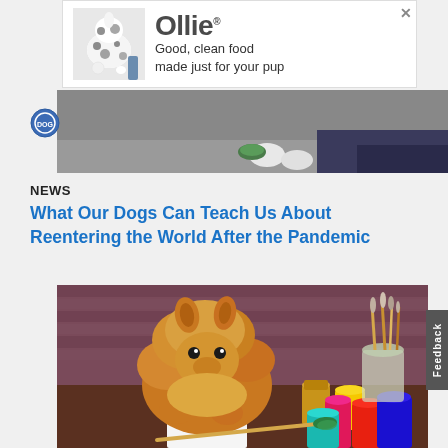[Figure (photo): Advertisement banner for Ollie dog food brand showing a dalmatian dog being fed, with text 'Good, clean food made just for your pup']
[Figure (photo): Top strip of a photo showing a dog and a person's legs in the background]
NEWS
What Our Dogs Can Teach Us About Reentering the World After the Pandemic
[Figure (photo): Fluffy orange/golden Pomeranian dog sitting at a table with colorful paint jars and paintbrushes, appearing to be painting]